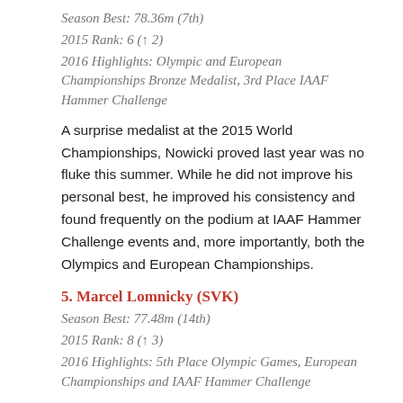Season Best: 78.36m (7th)
2015 Rank: 6 (↑ 2)
2016 Highlights: Olympic and European Championships Bronze Medalist, 3rd Place IAAF Hammer Challenge
A surprise medalist at the 2015 World Championships, Nowicki proved last year was no fluke this summer. While he did not improve his personal best, he improved his consistency and found frequently on the podium at IAAF Hammer Challenge events and, more importantly, both the Olympics and European Championships.
5. Marcel Lomnicky (SVK)
Season Best: 77.48m (14th)
2015 Rank: 8 (↑ 3)
2016 Highlights: 5th Place Olympic Games, European Championships and IAAF Hammer Challenge
Lomnicky flew under the radar this year, but if you look back at the results he put together a very solid season which earns him a tie for his highest ranking ever. While he did not make a major podium, he was always in the mix with top-5 finishes at both the top championships and the IAAF Hammer Challenge...